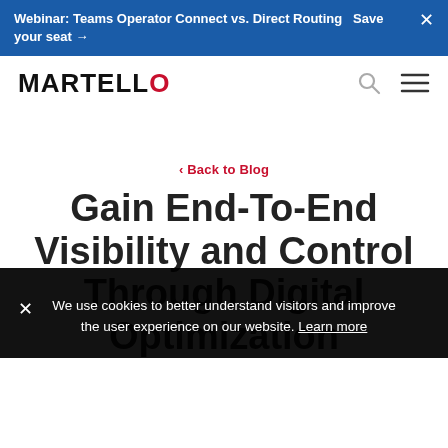Webinar: Teams Operator Connect vs. Direct Routing  Save your seat →
[Figure (logo): Martello logo with red circular O]
‹ Back to Blog
Gain End-To-End Visibility and Control Through Digital Optimization
We use cookies to better understand visitors and improve the user experience on our website. Learn more